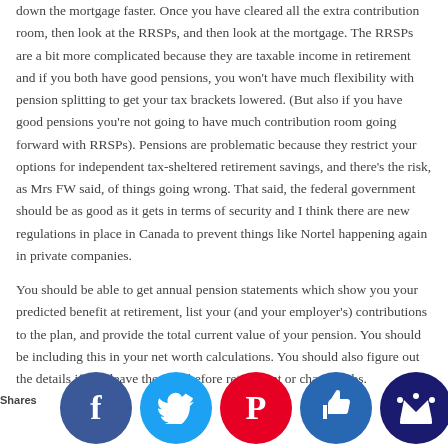down the mortgage faster. Once you have cleared all the extra contribution room, then look at the RRSPs, and then look at the mortgage. The RRSPs are a bit more complicated because they are taxable income in retirement and if you both have good pensions, you won't have much flexibility with pension splitting to get your tax brackets lowered. (But also if you have good pensions you're not going to have much contribution room going forward with RRSPs). Pensions are problematic because they restrict your options for independent tax-sheltered retirement savings, and there's the risk, as Mrs FW said, of things going wrong. That said, the federal government should be as good as it gets in terms of security and I think there are new regulations in place in Canada to prevent things like Nortel happening again in private companies.
You should be able to get annual pension statements which show you your predicted benefit at retirement, list your (and your employer's) contributions to the plan, and provide the total current value of your pension. You should be including this in your net worth calculations. You should also figure out the details if you leave the plan before retirement or change jobs.
Shares